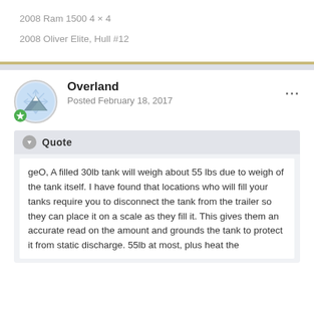2008 Ram 1500 4 × 4
2008 Oliver Elite, Hull #12
Overland
Posted February 18, 2017
Quote
geO, A filled 30lb tank will weigh about 55 lbs due to weigh of the tank itself. I have found that locations who will fill your tanks require you to disconnect the tank from the trailer so they can place it on a scale as they fill it. This gives them an accurate read on the amount and grounds the tank to protect it from static discharge. 55lb at most, plus heat the